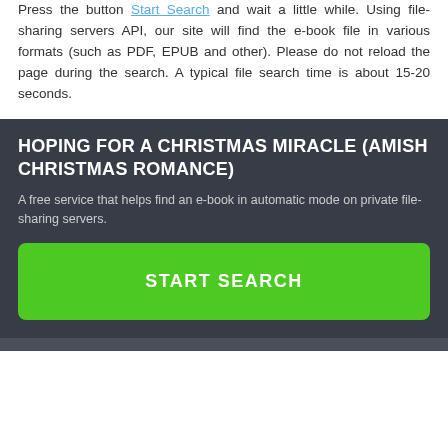Press the button Start Search and wait a little while. Using file-sharing servers API, our site will find the e-book file in various formats (such as PDF, EPUB and other). Please do not reload the page during the search. A typical file search time is about 15-20 seconds.
HOPING FOR A CHRISTMAS MIRACLE (AMISH CHRISTMAS ROMANCE)
A free service that helps find an e-book in automatic mode on private file-sharing servers.
START SEARCH
[Figure (logo): Books Guide logo with a 3D cube icon and text 'Books Guide — online books in pdf' on a dark footer background. An up-arrow button appears bottom right.]